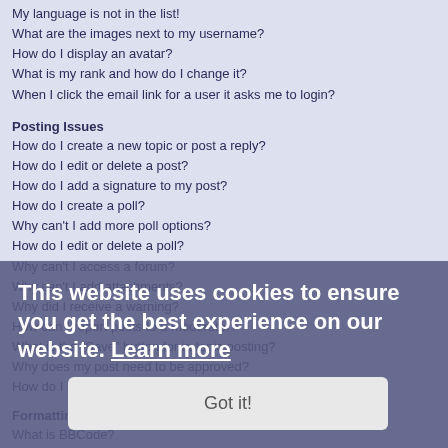My language is not in the list!
What are the images next to my username?
How do I display an avatar?
What is my rank and how do I change it?
When I click the email link for a user it asks me to login?
Posting Issues
How do I create a new topic or post a reply?
How do I edit or delete a post?
How do I add a signature to my post?
How do I create a poll?
Why can't I add more poll options?
How do I edit or delete a poll?
Why can't I access a forum?
Why can't I add attachments?
Why did I receive a warning?
How can I report posts to a moderator?
What is the "Save" button for in topic posting?
Why does my post need to be approved?
How do I bump my topic?
Formatting and Topic Types
What is BBCode?
Can I use HTML?
What are Smilies?
Can I post images?
What are global announcements?
What are announcements?
What are sticky topics?
This website uses cookies to ensure you get the best experience on our website. Learn more